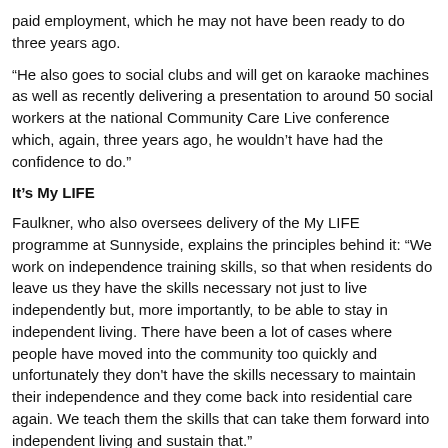paid employment, which he may not have been ready to do three years ago.
“He also goes to social clubs and will get on karaoke machines as well as recently delivering a presentation to around 50 social workers at the national Community Care Live conference which, again, three years ago, he wouldn’t have had the confidence to do.”
It’s My LIFE
Faulkner, who also oversees delivery of the My LIFE programme at Sunnyside, explains the principles behind it: “We work on independence training skills, so that when residents do leave us they have the skills necessary not just to live independently but, more importantly, to be able to stay in independent living. There have been a lot of cases where people have moved into the community too quickly and unfortunately they don't have the skills necessary to maintain their independence and they come back into residential care again. We teach them the skills that can take them forward into independent living and sustain that.”
My LIFE is also about building service users’ confidence, which can be crucial in giving them the belief that they can achieve their goals, whether it is independent living or gaining paid employment, Faulkner adds.